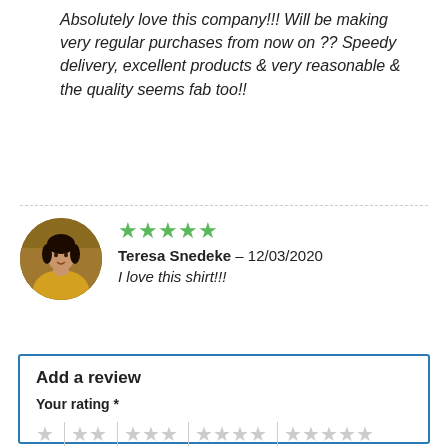Absolutely love this company!!! Will be making very regular purchases from now on ?? Speedy delivery, excellent products & very reasonable & the quality seems fab too!!
[Figure (photo): Circular avatar photo of Teresa Snedeke, a woman wearing a yellow top]
Teresa Snedeke – 12/03/2020
I love this shirt!!!
Add a review
Your rating *